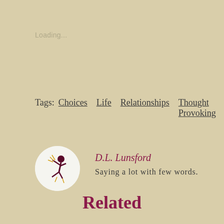Loading...
Tags: Choices  Life  Relationships  Thought Provoking
[Figure (illustration): Circular avatar with white background showing a silhouette figure jumping/dancing with purple and yellow coloring, representing D.L. Lunsford's author avatar.]
D.L. Lunsford
Saying a lot with few words.
Related